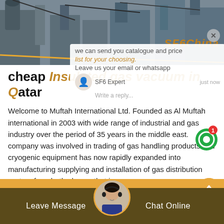[Figure (photo): Industrial equipment photo showing large metal machinery/transformers at an outdoor facility, grayish-brown tones]
SF6China
we can send you catalogue and price list for your choosing.
Leave us your email or whatsapp
cheap Insulated gas vacuum in Qatar
Welcome to Muftah International Ltd. Founded as Al Muftah international in 2003 with wide range of industrial and gas industry over the period of 35 years in the middle east. company was involved in trading of gas handling products and cryogenic equipment has now rapidly expanded into manufacturing supplying and installation of gas distribution system from both phases that is
Leave Message    Chat Online